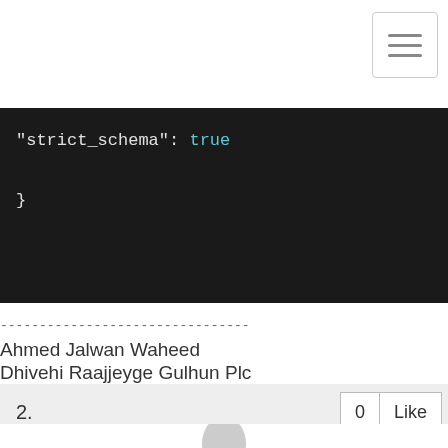[Figure (screenshot): Hamburger menu icon button in top-right corner]
"strict_schema": true
}
--------------------------------
Ahmed Jalwan Waheed
Dhivehi Raajjeyge Gulhun Plc
--------------------------------
2.
0  Like
[Figure (illustration): Partial grey avatar/profile image at the bottom]